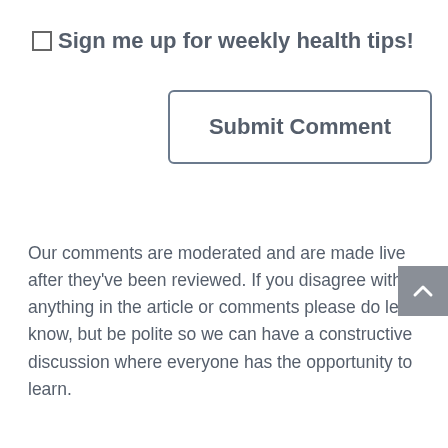☐ Sign me up for weekly health tips!
Submit Comment
Our comments are moderated and are made live after they've been reviewed. If you disagree with anything in the article or comments please do let us know, but be polite so we can have a constructive discussion where everyone has the opportunity to learn.